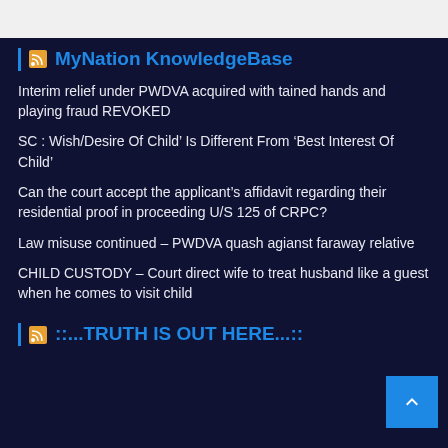MyNation KnowledgeBase
Interim relief under PWDVA acquired with tained hands and playing fraud REVOKED
SC : Wish/Desire Of Child’ Is Different From ‘Best Interest Of Child’
Can the court accept the applicant’s affidavit regarding their residential proof in proceeding U/S 125 of CRPC?
Law misuse continued – PWDVA quash agianst faraway relative
CHILD CUSTODY – Court direct wife to treat husband like a guest when he comes to visit child
::...TRUTH IS OUT HERE...::